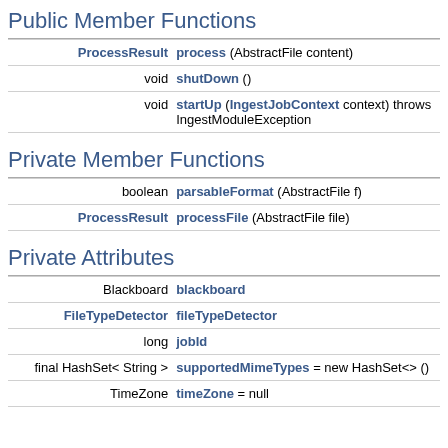Public Member Functions
| Type | Function |
| --- | --- |
| ProcessResult | process (AbstractFile content) |
| void | shutDown () |
| void | startUp (IngestJobContext context) throws IngestModuleException |
Private Member Functions
| Type | Function |
| --- | --- |
| boolean | parsableFormat (AbstractFile f) |
| ProcessResult | processFile (AbstractFile file) |
Private Attributes
| Type | Name |
| --- | --- |
| Blackboard | blackboard |
| FileTypeDetector | fileTypeDetector |
| long | jobId |
| final HashSet< String > | supportedMimeTypes = new HashSet<> () |
| TimeZone | timeZone = null |